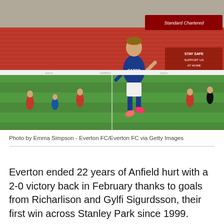[Figure (photo): A footballer in a blue Everton kit (CAZOO sponsor) with white shorts and blue socks, running on a football pitch at Anfield stadium. The stands are red and mostly empty. Other players visible in the background. The player wears pink/red boots.]
Photo by Emma Simpson - Everton FC/Everton FC via Getty Images
Everton ended 22 years of Anfield hurt with a 2-0 victory back in February thanks to goals from Richarlison and Gylfi Sigurdsson, their first win across Stanley Park since 1999.